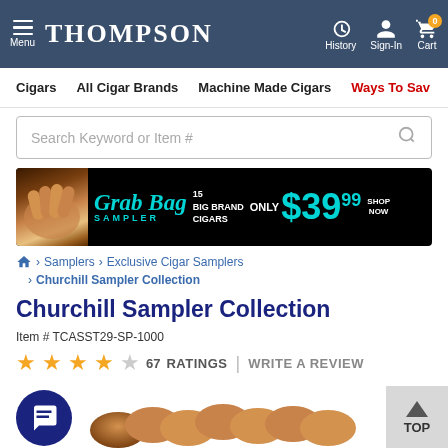THOMPSON — Menu | History | Sign-In | Cart
Cigars | All Cigar Brands | Machine Made Cigars | Ways To Save
[Figure (screenshot): Grab Bag Sampler promotional banner — 15 Big Brand Cigars Only $39.99 Shop Now]
Home > Samplers > Exclusive Cigar Samplers > Churchill Sampler Collection
Churchill Sampler Collection
Item # TCASST29-SP-1000
★★★★☆ 67 RATINGS | WRITE A REVIEW
[Figure (photo): Photo of Churchill cigars bundled together]